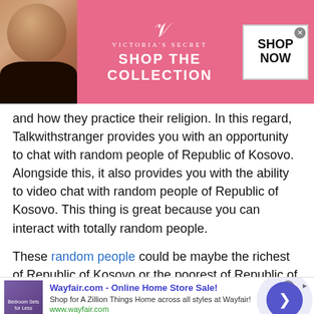[Figure (screenshot): Victoria's Secret advertisement banner with model, VS logo, 'SHOP THE COLLECTION' text, and SHOP NOW button]
and how they practice their religion. In this regard, Talkwithstranger provides you with an opportunity to chat with random people of Republic of Kosovo. Alongside this, it also provides you with the ability to video chat with random people of Republic of Kosovo. This thing is great because you can interact with totally random people.

These random people could be maybe the richest of Republic of Kosovo or the poorest of Republic of Kosovo. So, you have a chance that you can get to
[Figure (screenshot): Wayfair.com online advertisement banner showing 'Wayfair.com - Online Home Store Sale!' with bedroom furniture image and navigation arrow button]